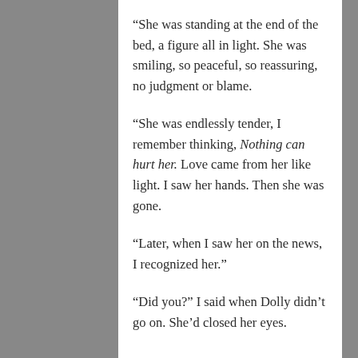“She was standing at the end of the bed, a figure all in light. She was smiling, so peaceful, so reassuring, no judgment or blame.
“She was endlessly tender, I remember thinking, Nothing can hurt her. Love came from her like light. I saw her hands. Then she was gone.
“Later, when I saw her on the news, I recognized her.”
“Did you?” I said when Dolly didn’t go on. She’d closed her eyes.